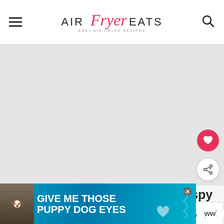AIR Fryer EATS — EASY AIR FRYER RECIPES
[Figure (photo): Large article hero image area (gray placeholder), with floating social buttons (heart/save and share) on the right side.]
Air Fryer Potato Pancakes - Crispy
Air Fryer Potato Pancakes are the perfect next-day dish for leftover m... side
[Figure (infographic): What's Next promotional box: thumbnail image of Thanksgiving dish, label 'WHAT'S NEXT →', text 'Vegetarian Air Fryer...']
[Figure (photo): Bottom advertisement banner: teal/blue gradient background with a dog image on the left and bold white text 'GIVE ME THOSE PUPPY DOG EYES'. Close X button top right. Heart and squiggle decoration. Side icon 'ww' with degree symbol.]